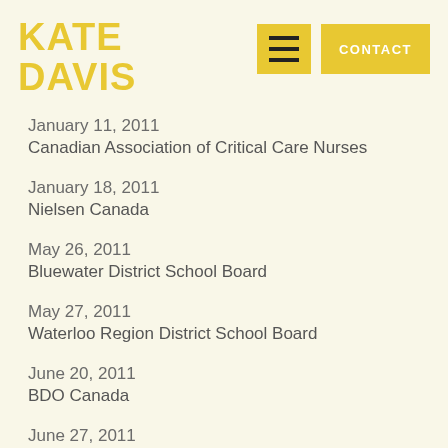KATE DAVIS
January 11, 2011
Canadian Association of Critical Care Nurses
January 18, 2011
Nielsen Canada
May 26, 2011
Bluewater District School Board
May 27, 2011
Waterloo Region District School Board
June 20, 2011
BDO Canada
June 27, 2011